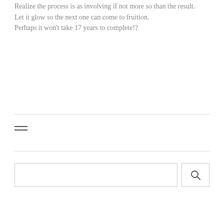Realize the process is as involving if not more so than the result.
Let it glow so the next one can come to fruition.
Perhaps it won't take 17 years to complete!?
[Figure (other): Horizontal rule divider line]
[Figure (other): Hamburger menu icon with two horizontal lines]
[Figure (other): Horizontal rule divider line]
[Figure (other): Search bar with text input field and search button with magnifying glass icon]